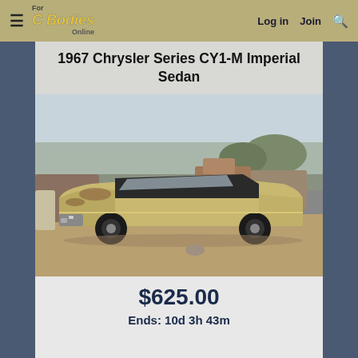For C Bodies Online — Log in  Join  [Search]
1967 Chrysler Series CY1-M Imperial Sedan
[Figure (photo): A weathered gold/tan 1967 Chrysler Imperial Sedan sitting in an outdoor junkyard or salvage yard surrounded by other old vehicles and scrubby trees. The car has visible rust and deterioration, particularly on the hood and roof.]
$625.00
Ends: 10d 3h 43m